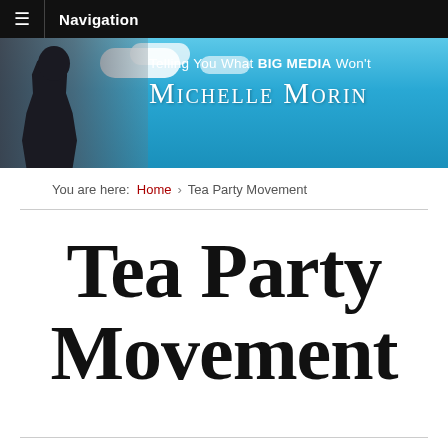≡ Navigation
[Figure (illustration): Website banner header showing Michelle Morin blog with woman photo on left, blue sky background, tagline 'Telling You What BIG MEDIA Won't' and site name 'MICHELLE MORIN']
You are here: Home › Tea Party Movement
Tea Party Movement